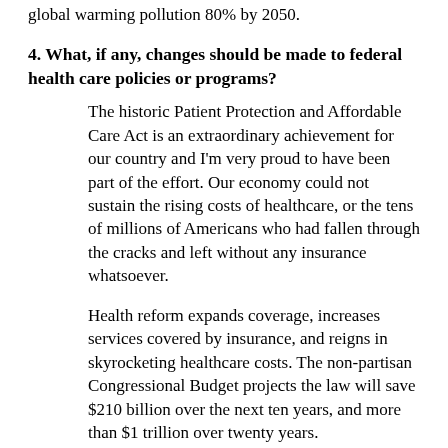global warming pollution 80% by 2050.
4. What, if any, changes should be made to federal health care policies or programs?
The historic Patient Protection and Affordable Care Act is an extraordinary achievement for our country and I'm very proud to have been part of the effort. Our economy could not sustain the rising costs of healthcare, or the tens of millions of Americans who had fallen through the cracks and left without any insurance whatsoever.
Health reform expands coverage, increases services covered by insurance, and reigns in skyrocketing healthcare costs. The non-partisan Congressional Budget projects the law will save $210 billion over the next ten years, and more than $1 trillion over twenty years.
As research, technology and market conditions evolve, Congress must evaluate how the health care system is